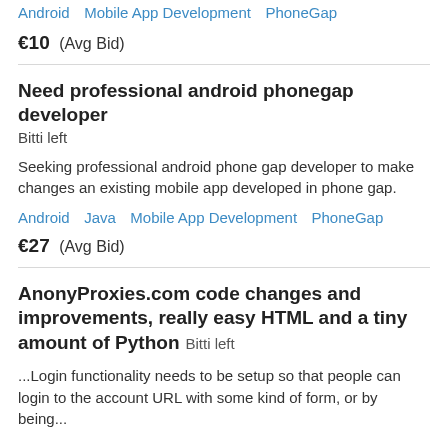Android   Mobile App Development   PhoneGap
€10  (Avg Bid)
Need professional android phonegap developer
Bitti left
Seeking professional android phone gap developer to make changes an existing mobile app developed in phone gap.
Android   Java   Mobile App Development   PhoneGap
€27  (Avg Bid)
AnonyProxies.com code changes and improvements, really easy HTML and a tiny amount of Python  Bitti left
...Login functionality needs to be setup so that people can login to the account URL with some kind of form, or by being...